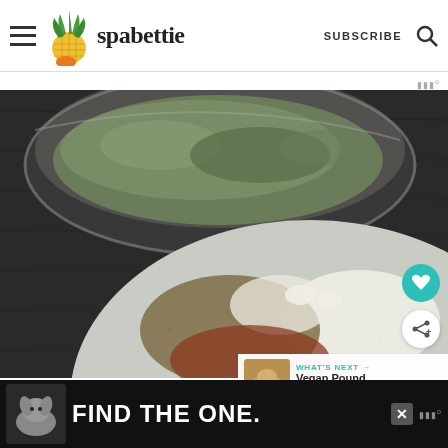spabettie | SUBSCRIBE
[Figure (photo): Overhead view of two bowls on a dark wood surface. Top bowl is a dark metal bowl containing dark green/grey fine powder. Bottom bowl is a speckled ceramic bowl containing a mixture of flour, brown powder (cinnamon), and other dry ingredients.]
WHAT'S NEXT → Vegan Pound Cake
FIND THE ONE.